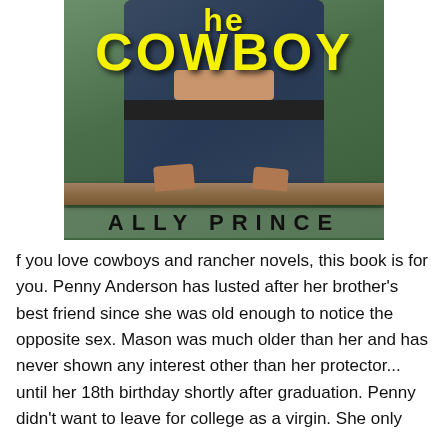[Figure (illustration): Book cover of 'He Cowboy' by Ally Prince. Shows a person in a denim jacket and jeans leaning against a wooden fence rail. Large yellow bold text reads 'COWBOY' at the top, with partial text above. Author name 'ALLY PRINCE' in large black spaced letters at the bottom of the cover.]
f you love cowboys and rancher novels, this book is for you. Penny Anderson has lusted after her brother's best friend since she was old enough to notice the opposite sex. Mason was much older than her and has never shown any interest other than her protector... until her 18th birthday shortly after graduation. Penny didn't want to leave for college as a virgin. She only